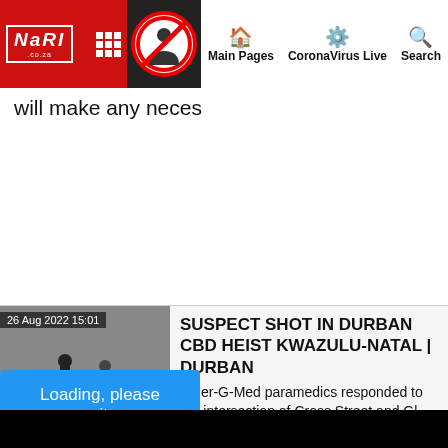NARI .co.za | Main Pages | CoronaVirus Live | Search
will make any neces
[Figure (photo): Crime scene photo with yellow police service tape reading 'POLICE SER' and crashed vehicles, dated 26 Aug 2022 15:01]
SUSPECT SHOT IN DURBAN CBD HEIST KWAZULU-NATAL | DURBAN
Emer-G-Med paramedics responded to the intersection of Cross Street and Gl
Loading, please wait...